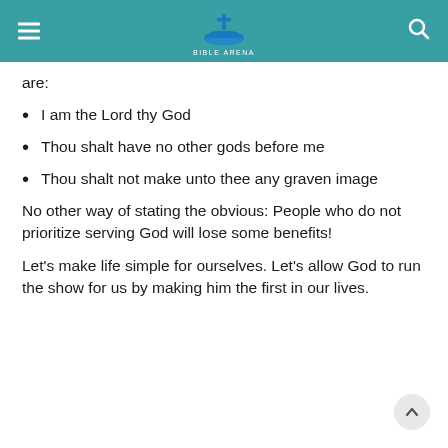Bible Arena website header with hamburger menu, logo, and search icon
are:
I am the Lord thy God
Thou shalt have no other gods before me
Thou shalt not make unto thee any graven image
No other way of stating the obvious: People who do not prioritize serving God will lose some benefits!
Let’s make life simple for ourselves. Let’s allow God to run the show for us by making him the first in our lives.